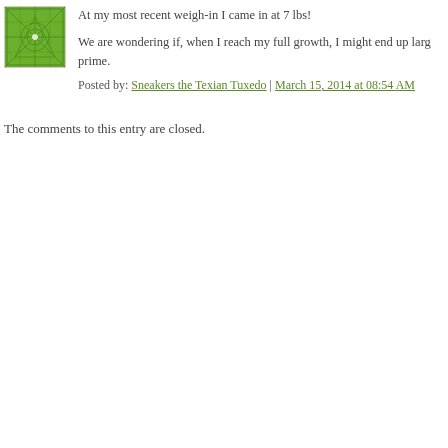[Figure (illustration): Green decorative avatar/icon with geometric pattern (tuxedo cat logo) in a square frame]
At my most recent weigh-in I came in at 7 lbs!
We are wondering if, when I reach my full growth, I might end up larg prime.
Posted by: Sneakers the Texian Tuxedo | March 15, 2014 at 08:54 AM
The comments to this entry are closed.